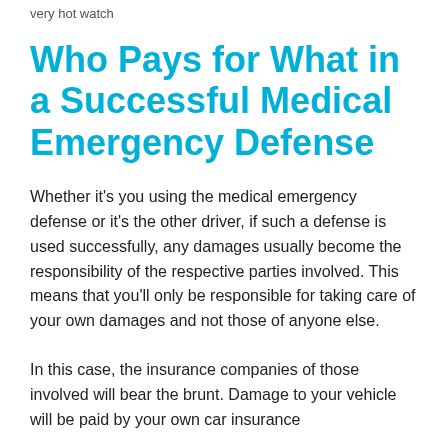very hot watch
Who Pays for What in a Successful Medical Emergency Defense
Whether it's you using the medical emergency defense or it's the other driver, if such a defense is used successfully, any damages usually become the responsibility of the respective parties involved. This means that you'll only be responsible for taking care of your own damages and not those of anyone else.
In this case, the insurance companies of those involved will bear the brunt. Damage to your vehicle will be paid by your own car insurance